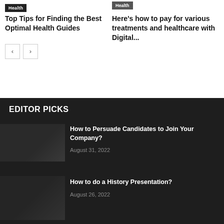Health
Top Tips for Finding the Best Optimal Health Guides
Health
Here's how to pay for various treatments and healthcare with Digital...
EDITOR PICKS
How to Persuade Candidates to Join Your Company?
August 31, 2022
How to do a History Presentation?
August 26, 2022